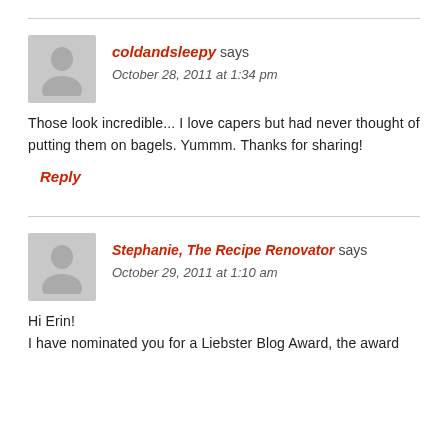coldandsleepy says
October 28, 2011 at 1:34 pm
Those look incredible... I love capers but had never thought of putting them on bagels. Yummm. Thanks for sharing!
Reply
Stephanie, The Recipe Renovator says
October 29, 2011 at 1:10 am
Hi Erin!
I have nominated you for a Liebster Blog Award, the award